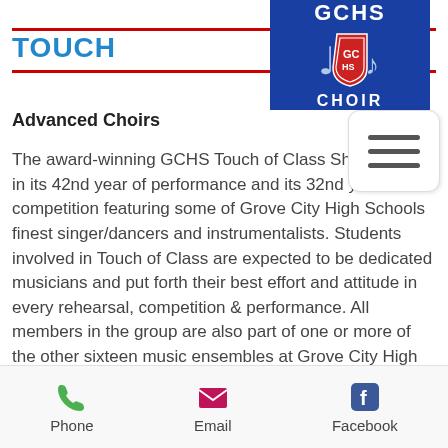TOUCH OF CLASS
[Figure (logo): GCHS Choir logo — blue background with shield emblem, text 'GCHS' at top and 'CHOIR' at bottom]
[Figure (screenshot): Hamburger menu button with three horizontal lines]
Advanced Choirs
The award-winning GCHS Touch of Class Show Choir is in its 42nd year of performance and its 32nd year of competition featuring some of Grove City High Schools finest singer/dancers and instrumentalists. Students involved in Touch of Class are expected to be dedicated musicians and put forth their best effort and attitude in every rehearsal, competition & performance. All members in the group are also part of one or more of the other sixteen music ensembles at Grove City High School. TOC has won numerous overall and caption awards throughout the years including Divisional and Overall Grand Champions, Best Combo, Best Vocals and
Phone   Email   Facebook